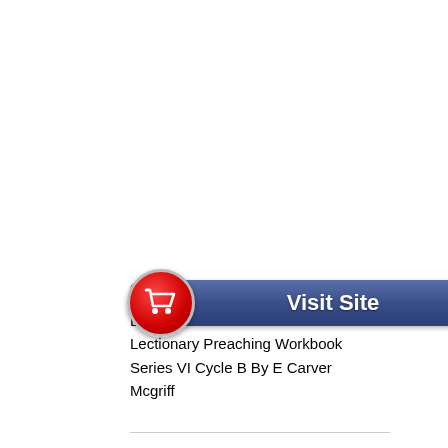[Figure (screenshot): A 'Visit Site' button with a red circle containing a shopping cart icon on the left and a blue/navy rectangular bar with 'Visit Site' text on the right]
$45.95
Eden
Lectionary Preaching Workbook Series VI Cycle B By E Carver Mcgriff